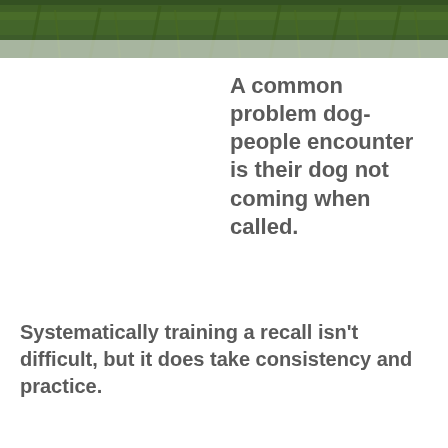[Figure (photo): A strip of green grass photographed close-up, forming a banner at the top of the page.]
A common problem dog-people encounter is their dog not coming when called.
Systematically training a recall isn't difficult, but it does take consistency and practice.